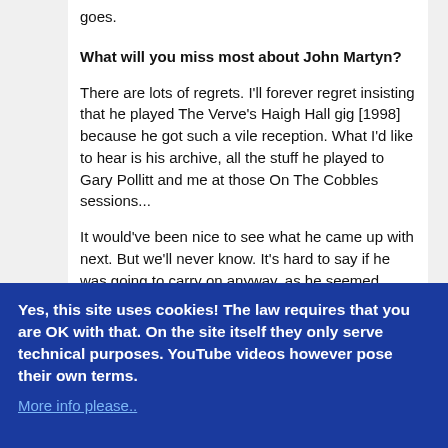goes.
What will you miss most about John Martyn?
There are lots of regrets. I'll forever regret insisting that he played The Verve's Haigh Hall gig [1998] because he got such a vile reception. What I'd like to hear is his archive, all the stuff he played to Gary Pollitt and me at those On The Cobbles sessions...
It would've been nice to see what he came up with next. But we'll never know. It's hard to say if he was going to carry on anyway, as he seemed f***ed off with the business. He came across as completely charming but I don't think he was treated right. He wasn't afforded the kudos in his lifetime.
When I met him the music industry was getting him down. He seemed happier to me when he was
Yes, this site uses cookies! The law requires that you are OK with that. On the site itself they only serve technical purposes. YouTube videos however pose their own terms.
More info please..